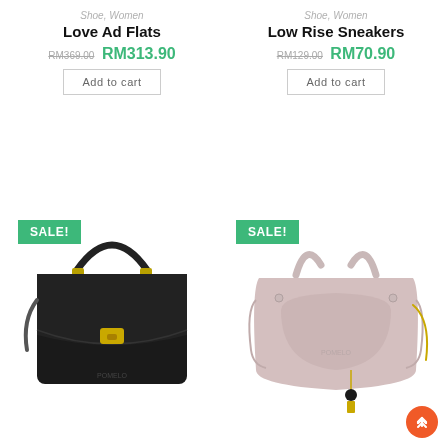Shoe, Women
Love Ad Flats
RM369.00 RM313.90
Add to cart
Shoe, Women
Low Rise Sneakers
RM129.00 RM70.90
Add to cart
[Figure (photo): Black leather handbag with gold clasp and top handle, SALE! badge in green]
[Figure (photo): Pink/mauve tote handbag with two top handles and charm, SALE! badge in green]